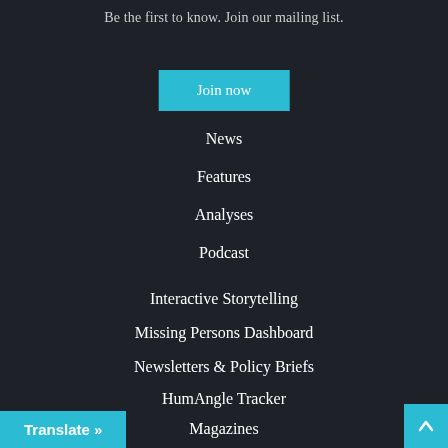Be the first to know. Join our mailing list.
Join now
News
Features
Analyses
Podcast
Interactive Storytelling
Missing Persons Dashboard
Newsletters & Policy Briefs
HumAngle Tracker
Magazines
About Us
Opportunities
Translate »